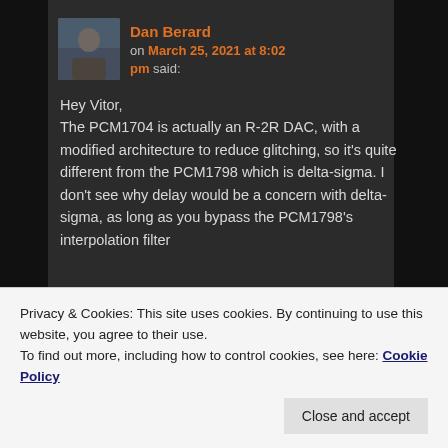Dan Berard on March 25, 2021 at 8:02 pm said:
Hey Vitor, The PCM1704 is actually an R-2R DAC, with a modified architecture to reduce glitching, so it's quite different from the PCM1798 which is delta-sigma. I don't see why delay would be a concern with delta-sigma, as long as you bypass the PCM1798's interpolation filter
Privacy & Cookies: This site uses cookies. By continuing to use this website, you agree to their use.
To find out more, including how to control cookies, see here: Cookie Policy